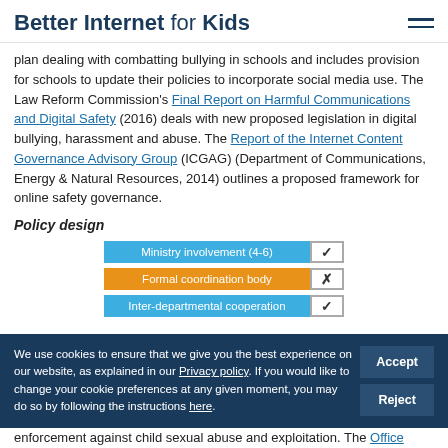Better Internet for Kids
plan dealing with combatting bullying in schools and includes provision for schools to update their policies to incorporate social media use. The Law Reform Commission's Final Report on Harmful Communications and Digital Safety (2016) deals with new proposed legislation in digital bullying, harassment and abuse. The Report of the Internet Content Governance Advisory Group (ICGAG) (Department of Communications, Energy & Natural Resources, 2014) outlines a proposed framework for online safety governance.
Policy design
[Figure (infographic): Three policy design indicators shown as colored label-checkbox rows: Ministry involvement (4-6) with blue background and checkmark, Formal coordination body with orange background and X, Inter-departmental cooperation with blue background and checkmark.]
We use cookies to ensure that we give you the best experience on our website, as explained in our Privacy policy. If you would like to change your cookie preferences at any given moment, you may do so by following the instructions here.
enforcement against child sexual abuse and exploitation. The Office